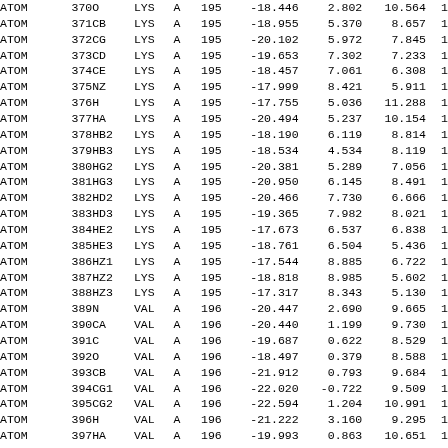| recname | serial | name | resName | chainID | resSeq | x | y | z | ... |
| --- | --- | --- | --- | --- | --- | --- | --- | --- | --- |
| ATOM | 370 | O | LYS | A | 195 | -18.446 | 2.802 | 10.564 | 1 |
| ATOM | 371 | CB | LYS | A | 195 | -18.955 | 5.370 | 8.657 | 1 |
| ATOM | 372 | CG | LYS | A | 195 | -20.102 | 5.972 | 7.845 | 1 |
| ATOM | 373 | CD | LYS | A | 195 | -19.653 | 7.302 | 7.233 | 1 |
| ATOM | 374 | CE | LYS | A | 195 | -18.457 | 7.061 | 6.308 | 1 |
| ATOM | 375 | NZ | LYS | A | 195 | -17.999 | 8.421 | 5.911 | 1 |
| ATOM | 376 | H | LYS | A | 195 | -17.755 | 5.036 | 11.288 | 1 |
| ATOM | 377 | HA | LYS | A | 195 | -20.494 | 5.237 | 10.154 | 1 |
| ATOM | 378 | HB2 | LYS | A | 195 | -18.190 | 6.119 | 8.814 | 1 |
| ATOM | 379 | HB3 | LYS | A | 195 | -18.534 | 4.534 | 8.119 | 1 |
| ATOM | 380 | HG2 | LYS | A | 195 | -20.381 | 5.289 | 7.056 | 1 |
| ATOM | 381 | HG3 | LYS | A | 195 | -20.950 | 6.145 | 8.491 | 1 |
| ATOM | 382 | HD2 | LYS | A | 195 | -20.466 | 7.730 | 6.666 | 1 |
| ATOM | 383 | HD3 | LYS | A | 195 | -19.365 | 7.982 | 8.021 | 1 |
| ATOM | 384 | HE2 | LYS | A | 195 | -17.673 | 6.537 | 6.838 | 1 |
| ATOM | 385 | HE3 | LYS | A | 195 | -18.761 | 6.504 | 5.436 | 1 |
| ATOM | 386 | HZ1 | LYS | A | 195 | -17.544 | 8.885 | 6.722 | 1 |
| ATOM | 387 | HZ2 | LYS | A | 195 | -18.818 | 8.985 | 5.602 | 1 |
| ATOM | 388 | HZ3 | LYS | A | 195 | -17.317 | 8.343 | 5.130 | 1 |
| ATOM | 389 | N | VAL | A | 196 | -20.447 | 2.690 | 9.665 | 1 |
| ATOM | 390 | CA | VAL | A | 196 | -20.440 | 1.199 | 9.730 | 1 |
| ATOM | 391 | C | VAL | A | 196 | -19.687 | 0.622 | 8.529 | 1 |
| ATOM | 392 | O | VAL | A | 196 | -18.497 | 0.379 | 8.588 | 1 |
| ATOM | 393 | CB | VAL | A | 196 | -21.912 | 0.793 | 9.684 | 1 |
| ATOM | 394 | CG1 | VAL | A | 196 | -22.020 | -0.722 | 9.509 | 1 |
| ATOM | 395 | CG2 | VAL | A | 196 | -22.594 | 1.204 | 10.991 | 1 |
| ATOM | 396 | H | VAL | A | 196 | -21.222 | 3.160 | 9.295 | 1 |
| ATOM | 397 | HA | VAL | A | 196 | -19.993 | 0.863 | 10.651 | 1 |
| ATOM | 398 | HB | VAL | A | 196 | -22.396 | 1.287 | 8.853 | 1 |
| ATOM | 399 | HG11 | VAL | A | 196 | -22.398 | -1.164 | 10.419 | 1 |